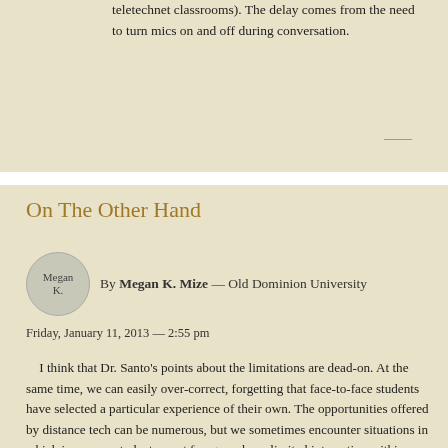teletechnet classrooms). The delay comes from the need to turn mics on and off during conversation.
On The Other Hand
By Megan K. Mize — Old Dominion University
Friday, January 11, 2013 — 2:55 pm
I think that Dr. Santo's points about the limitations are dead-on. At the same time, we can easily over-correct, forgetting that face-to-face students have selected a particular experience of their own. The opportunities offered by distance tech can be numerous, but we sometimes encounter situations in which in-person students must forego or have limited interaction within a physical classroom, resorting to staring at screens, even when other students are in the room. For instance, in an upcoming course, all students will be using Webex in the English Dept. computer lab, despite the fact only one student is at a distance. Students will have their own computers while the teacher lectures into another. While this model certainly functions, it changes the experience for the on-campus folks in ways that we